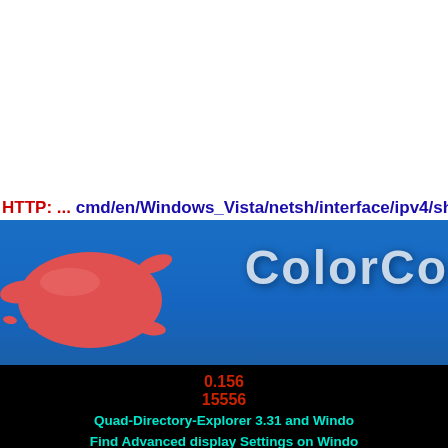HTTP: ... cmd/en/Windows_Vista/netsh/interface/ipv4/show/ipstats.htm
[Figure (screenshot): ColorConsole website banner with red splash logo and 'ColorCo' text on blue gradient background]
0.156
15556
Quad-Directory-Explorer 3.31 and Windo Find Advanced display Settings on Windo server! / Change device installation se Windows 11! / Do i also need a disk, if y Was ist ein Timer? / How can i tr AutoHideDesktopIcons Free in my la Question! Windows 10 test page print, Unterschied Windows Server 2012 und Autostart von Programmen in Windows kann ich AHDI Free in meine Lande übersetzen? / Kann ich das 3D Desktop
This website uses cookies to ensure you get the best experience on our website Infos OK